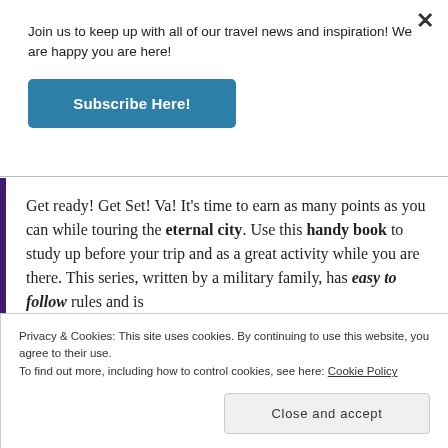Join us to keep up with all of our travel news and inspiration! We are happy you are here!
Subscribe Here!
Get ready! Get Set! Va! It's time to earn as many points as you can while touring the eternal city. Use this handy book to study up before your trip and as a great activity while you are there. This series, written by a military family, has easy to follow rules and is
Privacy & Cookies: This site uses cookies. By continuing to use this website, you agree to their use.
To find out more, including how to control cookies, see here: Cookie Policy
Close and accept